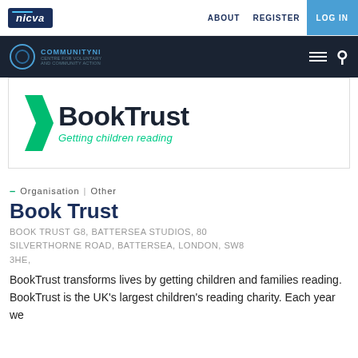nicva | ABOUT  REGISTER  LOG IN
[Figure (logo): CommunityNI logo with circular icon, dark background bar with hamburger menu and search icon]
[Figure (logo): BookTrust logo with green bracket icon, text 'BookTrust' and tagline 'Getting children reading']
– Organisation | Other
Book Trust
BOOK TRUST G8, BATTERSEA STUDIOS, 80 SILVERTHORNE ROAD, BATTERSEA, LONDON, SW8 3HE,
BookTrust transforms lives by getting children and families reading. BookTrust is the UK's largest children's reading charity. Each year we